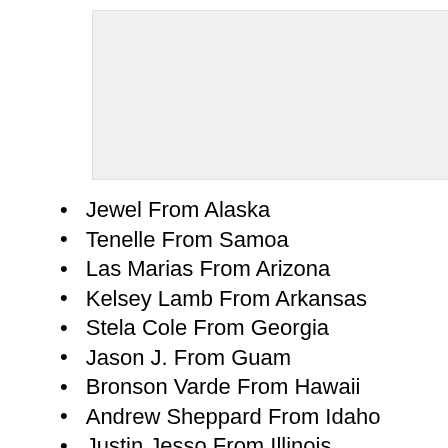[Figure (other): Gray placeholder image or image area at top of page]
Jewel From Alaska
Tenelle From Samoa
Las Marias From Arizona
Kelsey Lamb From Arkansas
Stela Cole From Georgia
Jason J. From Guam
Bronson Varde From Hawaii
Andrew Sheppard From Idaho
Justin Jesso From Illinois
UG Skywalkin From Indiana
Alisabeth Von Presley From Iowa